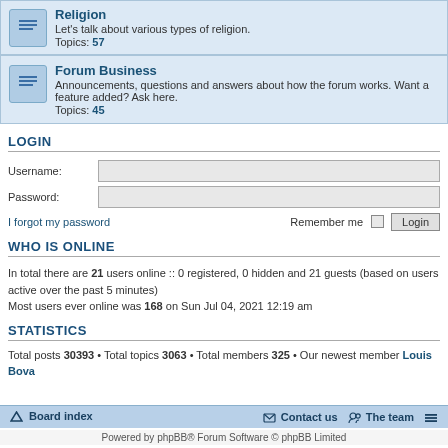Religion - Let's talk about various types of religion. Topics: 57
Forum Business - Announcements, questions and answers about how the forum works. Want a feature added? Ask here. Topics: 45
LOGIN
Username: [input] Password: [input] I forgot my password | Remember me [checkbox] [Login button]
WHO IS ONLINE
In total there are 21 users online :: 0 registered, 0 hidden and 21 guests (based on users active over the past 5 minutes) Most users ever online was 168 on Sun Jul 04, 2021 12:19 am
STATISTICS
Total posts 30393 • Total topics 3063 • Total members 325 • Our newest member Louis Bova
Board index | Contact us | The team | Powered by phpBB® Forum Software © phpBB Limited